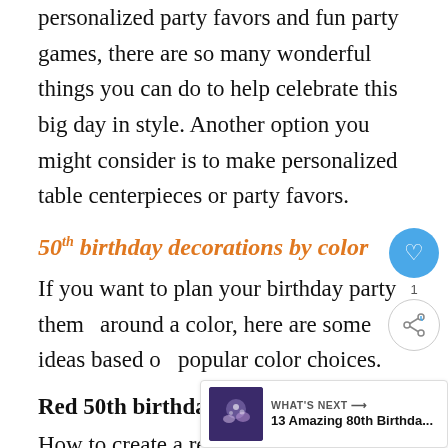personalized party favors and fun party games, there are so many wonderful things you can do to help celebrate this big day in style. Another option you might consider is to make personalized table centerpieces or party favors.
50th birthday decorations by color
If you want to plan your birthday party theme around a color, here are some ideas based on popular color choices.
Red 50th birthday decorations
How to create a red 50th birthday decorations hit...